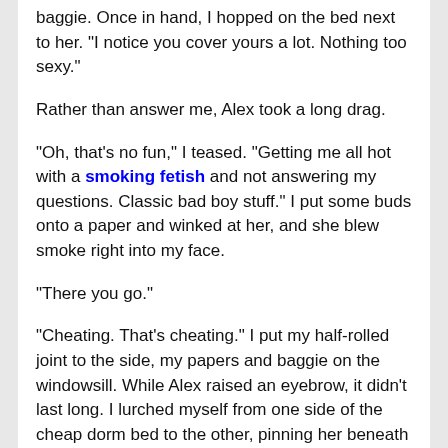baggie. Once in hand, I hopped on the bed next to her. "I notice you cover yours a lot. Nothing too sexy."
Rather than answer me, Alex took a long drag.
"Oh, that's no fun," I teased. "Getting me all hot with a smoking fetish and not answering my questions. Classic bad boy stuff." I put some buds onto a paper and winked at her, and she blew smoke right into my face.
"There you go."
"Cheating. That's cheating." I put my half-rolled joint to the side, my papers and baggie on the windowsill. While Alex raised an eyebrow, it didn't last long. I lurched myself from one side of the cheap dorm bed to the other, pinning her beneath me. Once I had her beneath me, my gut hardened.
"Now then. Give me some real smoke," I told her and pressed our lips together.
The Reveal
I tasted smoke. My lungs filled with wisps of smoke that tasted like cloves. My tongue tasted ash. And, my hands found her hands, and placed them under my dress, right on my